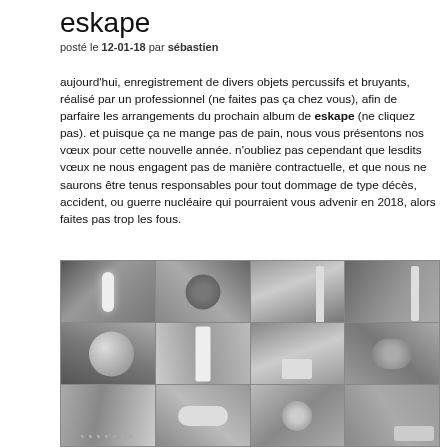eskape
posté le 12-01-18 par sébastien
aujourd'hui, enregistrement de divers objets percussifs et bruyants, réalisé par un professionnel (ne faites pas ça chez vous), afin de parfaire les arrangements du prochain album de eskape (ne cliquez pas). et puisque ça ne mange pas de pain, nous vous présentons nos vœux pour cette nouvelle année. n'oubliez pas cependant que lesdits vœux ne nous engagent pas de manière contractuelle, et que nous ne saurons être tenus responsables pour tout dommage de type décès, accident, ou guerre nucléaire qui pourraient vous advenir en 2018, alors faites pas trop les fous.
[Figure (photo): Grid of 12 black and white photos showing a recording studio session: microphones, musical instruments, musicians wearing headphones, recording equipment, mixing console, and percussion objects being recorded.]